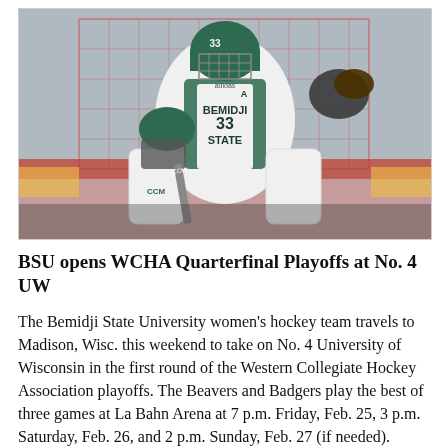[Figure (photo): A Bemidji State University women's hockey goalie wearing jersey number 33 in green and white BSU uniform, in action pose in front of the net, wearing CCM equipment including leg pads and blocker.]
BSU opens WCHA Quarterfinal Playoffs at No. 4 UW
The Bemidji State University women's hockey team travels to Madison, Wisc. this weekend to take on No. 4 University of Wisconsin in the first round of the Western Collegiate Hockey Association playoffs. The Beavers and Badgers play the best of three games at La Bahn Arena at 7 p.m. Friday, Feb. 25, 3 p.m. Saturday, Feb. 26, and 2 p.m. Sunday, Feb. 27 (if needed).